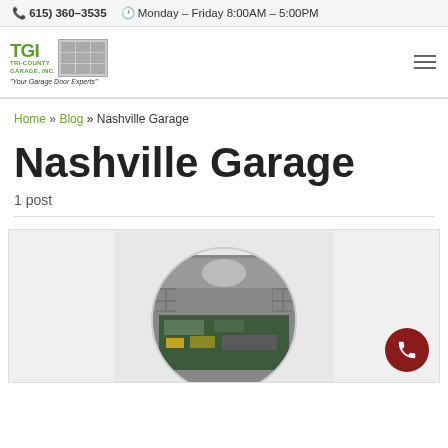📞 615) 360-3535   🕐 Monday – Friday 8:00AM – 5:00PM
[Figure (logo): TGI Tri-County Garage Inc logo with green text and garage door graphic. Tagline: Your Garage Door Experts]
Home » Blog » Nashville Garage
Nashville Garage
1 post
[Figure (photo): Circular cropped photo of a garage door opener motor unit interior showing electronic components and circuit board]